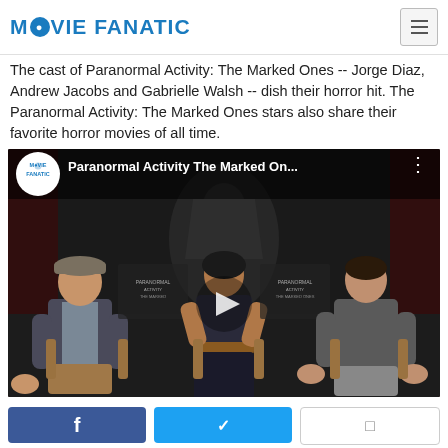MOVIE FANATIC
The cast of Paranormal Activity: The Marked Ones -- Jorge Diaz, Andrew Jacobs and Gabrielle Walsh -- dish their horror hit. The Paranormal Activity: The Marked Ones stars also share their favorite horror movies of all time.
[Figure (screenshot): Embedded YouTube video player showing 'Paranormal Activity The Marked On...' with Movie Fanatic logo, three cast members sitting in chairs in front of a horror movie poster backdrop, and a play button overlay.]